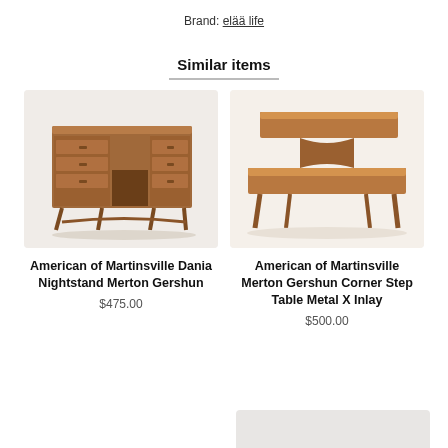Brand: elää life
Similar items
[Figure (photo): Mid-century walnut nightstand/dresser with angled legs, multiple drawers and an open compartment, by American of Martinsville Dania Merton Gershun]
American of Martinsville Dania Nightstand Merton Gershun
$475.00
[Figure (photo): Mid-century walnut corner step side table with metal X inlay, two-tier design with angled legs, by American of Martinsville Merton Gershun]
American of Martinsville Merton Gershun Corner Step Table Metal X Inlay
$500.00
[Figure (photo): Partially visible furniture item at bottom of page]